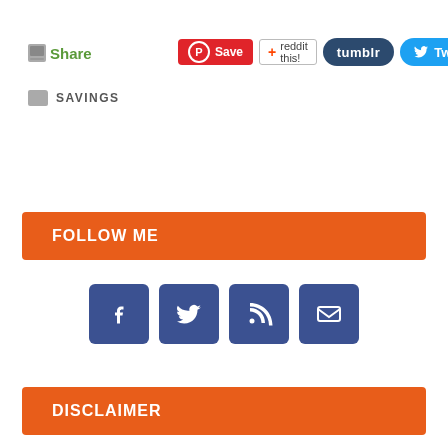[Figure (screenshot): Share label with icon in green text]
[Figure (screenshot): Social sharing buttons: Pinterest Save, reddit this!, tumblr, Tweet]
SAVINGS
FOLLOW ME
[Figure (infographic): Four social media icon buttons: Facebook, Twitter, RSS feed, Email]
DISCLAIMER